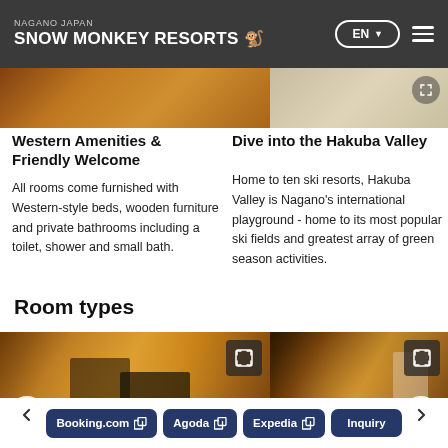NAGANO JAPAN SNOW MONKEY RESORTS | EN
[Figure (photo): Top strip showing hotel room photos — warm amber/brown tones on left, lighter tones on right]
Western Amenities & Friendly Welcome
All rooms come furnished with Western-style beds, wooden furniture and private bathrooms including a toilet, shower and small bath.
Dive into the Hakuba Valley
Home to ten ski resorts, Hakuba Valley is Nagano's international playground - home to its most popular ski fields and greatest array of green season activities.
Room types
[Figure (photo): Hotel room carousel showing two warm amber-lit bedroom interior photos with expand icons; left and right navigation arrows; two room views side by side]
Booking.com | Agoda | Expedia | Inquiry